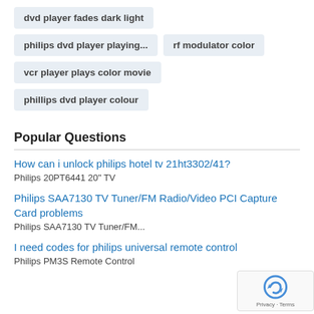dvd player fades dark light
philips dvd player playing...
rf modulator color
vcr player plays color movie
phillips dvd player colour
Popular Questions
How can i unlock philips hotel tv 21ht3302/41?
Philips 20PT6441 20" TV
Philips SAA7130 TV Tuner/FM Radio/Video PCI Capture Card problems
Philips SAA7130 TV Tuner/FM...
I need codes for philips universal remote control
Philips PM3S Remote Control